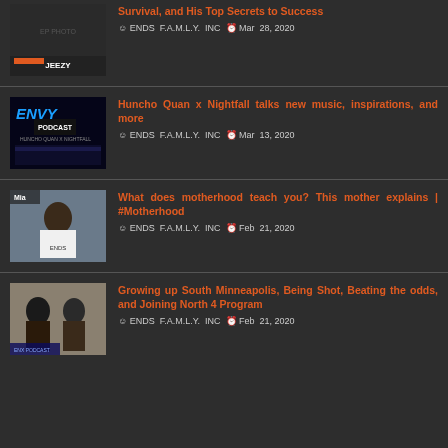Survival, and His Top Secrets to Success — ENDS F.A.M.L.Y. INC — Mar 28, 2020
Huncho Quan x Nightfall talks new music, inspirations, and more — ENDS F.A.M.L.Y. INC — Mar 13, 2020
What does motherhood teach you? This mother explains | #Motherhood — ENDS F.A.M.L.Y. INC — Feb 21, 2020
Growing up South Minneapolis, Being Shot, Beating the odds, and Joining North 4 Program — ENDS F.A.M.L.Y. INC — Feb 21, 2020